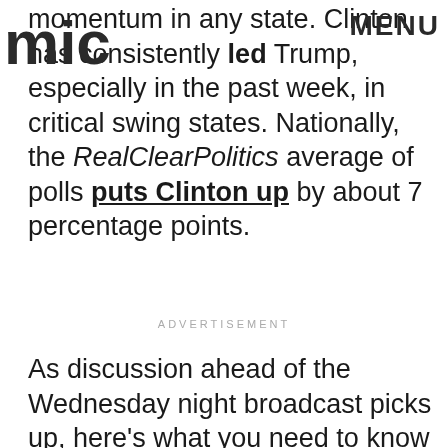MIC  MENU
momentum in any state. Clinton has consistently led Trump, especially in the past week, in critical swing states. Nationally, the RealClearPolitics average of polls puts Clinton up by about 7 percentage points.
ADVERTISEMENT
As discussion ahead of the Wednesday night broadcast picks up, here's what you need to know before the final presidential debate.